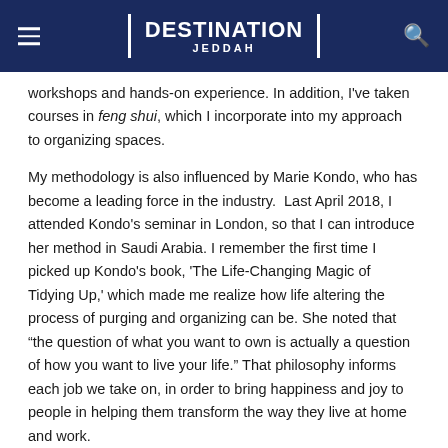DESTINATION JEDDAH
workshops and hands-on experience. In addition, I've taken courses in feng shui, which I incorporate into my approach to organizing spaces.
My methodology is also influenced by Marie Kondo, who has become a leading force in the industry.  Last April 2018, I attended Kondo's seminar in London, so that I can introduce her method in Saudi Arabia. I remember the first time I picked up Kondo's book, 'The Life-Changing Magic of Tidying Up,' which made me realize how life altering the process of purging and organizing can be. She noted that “the question of what you want to own is actually a question of how you want to live your life.” That philosophy informs each job we take on, in order to bring happiness and joy to people in helping them transform the way they live at home and work.
Most organizing methods advocate a room-by-room or piece-